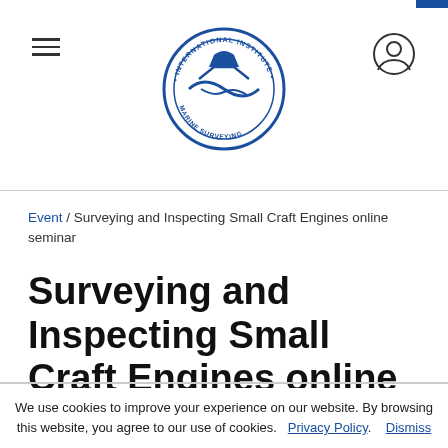International Institute of Marine Surveying — site header with hamburger menu, logo, and user icon
Event / Surveying and Inspecting Small Craft Engines online seminar
Surveying and Inspecting Small Craft Engines online seminar
We use cookies to improve your experience on our website. By browsing this website, you agree to our use of cookies. Privacy Policy. Dismiss